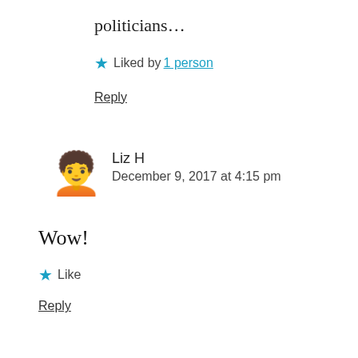politicians…
★ Liked by 1 person
Reply
Liz H
December 9, 2017 at 4:15 pm
Wow!
★ Like
Reply